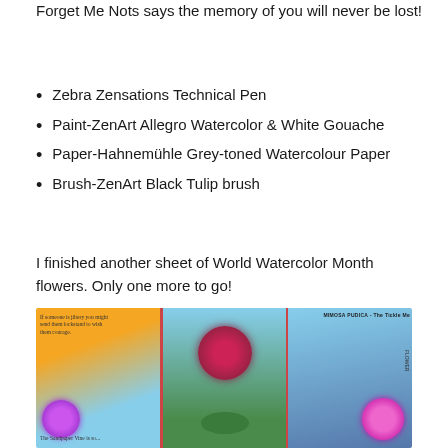Forget Me Nots says the memory of you will never be lost!
Zebra Zensations Technical Pen
Paint-ZenArt Allegro Watercolor & White Gouache
Paper-Hahnemühle Grey-toned Watercolour Paper
Brush-ZenArt Black Tulip brush
I finished another sheet of World Watercolor Month flowers. Only one more to go!
[Figure (photo): Watercolor artwork showing three panels of painted flowers: left panel with purple flower on orange/blue background with handwritten text, center panel with red/crimson flower with green leaves on blue background, right panel with pink mimosa flower on blue background with 'MIMOSA PUDICA - The Tickle Me Flower' label]